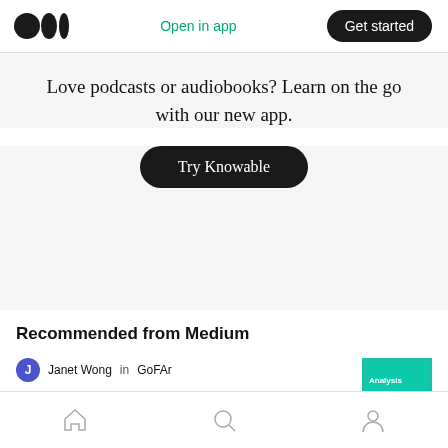Medium logo | Open in app | Get started
Love podcasts or audiobooks? Learn on the go with our new app.
Try Knowable
Recommended from Medium
Janet Wong in GoFAr
Speaking of Change
[Figure (illustration): Teal book cover thumbnail with 'Analysis' text and '20' prominently displayed]
Home | Search | Profile navigation icons